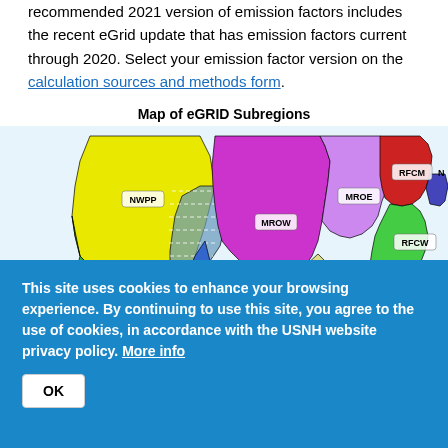recommended 2021 version of emission factors includes the recent eGrid update that has emission factors current through 2020. Select your emission factor version on the calculation sources and methods form.
Map of eGRID Subregions
[Figure (map): Map of eGRID Subregions showing colored regions of the United States labeled with subregion codes: NWPP (yellow), CAMX (green), AZNM (dark teal/gray), RMPA (blue), MROW (purple), MROE (light purple), RFCM (red), RFCW (bright green), SPNO (salmon/pink), SPSO (light purple), SRMW (light yellow), SRMV (light pink), SRTV (green), SRSO (light blue/beige), ERCT (orange)]
This site uses cookies to enhance your browsing experience. By continuing to use this site, you agree to the use of cookies, in accordance with the USNH website privacy policy. More info